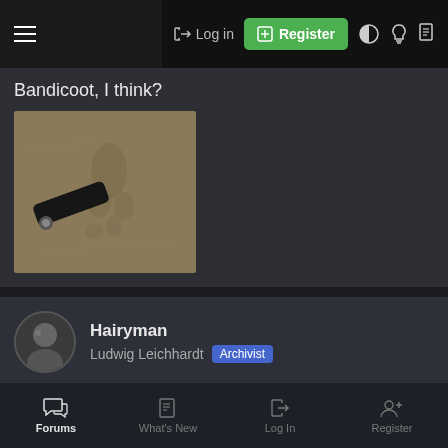Log in | Register
Bandicoot, I think?
[Figure (photo): A photo showing animal tracks in sand with a black Swiss Army knife/multitool for scale]
Hairyman
Ludwig Leichhardt  Archivist
Dec 16, 2012   #11
Goanna, moving from left to right.
[Figure (photo): A photo showing tracks or impressions in sandy/gravelly ground]
Forums  What's New  Log In  Register